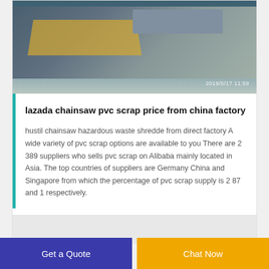[Figure (photo): Industrial machinery photo with timestamp 2019/5/17 11:59 in bottom right corner]
lazada chainsaw pvc scrap price from china factory
hustil chainsaw hazardous waste shredde from direct factory A wide variety of pvc scrap options are available to you There are 2 389 suppliers who sells pvc scrap on Alibaba mainly located in Asia. The top countries of suppliers are Germany China and Singapore from which the percentage of pvc scrap supply is 2 87 and 1 respectively.